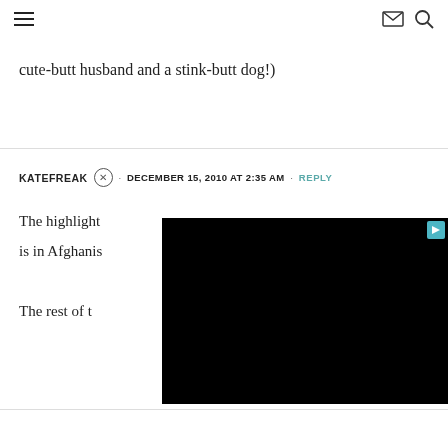navigation header with hamburger menu, email icon, and search icon
cute-butt husband and a stink-butt dog!)
KATEFREAK · DECEMBER 15, 2010 AT 2:35 AM · REPLY
The highlight is in Afghanis
The rest of t
[Figure (other): Black advertisement overlay covering the right portion of the comment section]